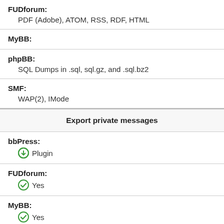FUDforum: PDF (Adobe), ATOM, RSS, RDF, HTML
MyBB:
phpBB: SQL Dumps in .sql, sql.gz, and .sql.bz2
SMF: WAP(2), IMode
Export private messages
bbPress: Plugin
FUDforum: Yes
MyBB: Yes